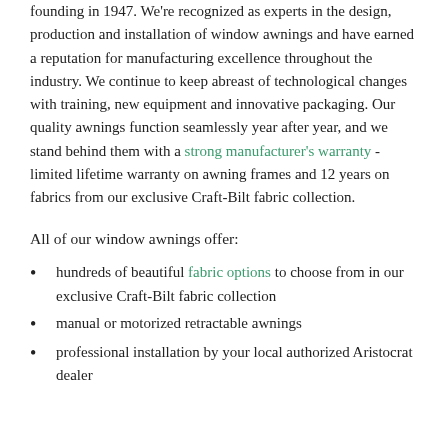founding in 1947. We're recognized as experts in the design, production and installation of window awnings and have earned a reputation for manufacturing excellence throughout the industry. We continue to keep abreast of technological changes with training, new equipment and innovative packaging. Our quality awnings function seamlessly year after year, and we stand behind them with a strong manufacturer's warranty - limited lifetime warranty on awning frames and 12 years on fabrics from our exclusive Craft-Bilt fabric collection.
All of our window awnings offer:
hundreds of beautiful fabric options to choose from in our exclusive Craft-Bilt fabric collection
manual or motorized retractable awnings
professional installation by your local authorized Aristocrat dealer